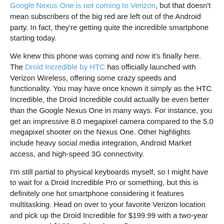Google Nexus One is not coming to Verizon, but that doesn't mean subscribers of the big red are left out of the Android party. In fact, they're getting quite the incredible smartphone starting today.
We knew this phone was coming and now it's finally here. The Droid Incredible by HTC has officially launched with Verizon Wireless, offering some crazy speeds and functionality. You may have once known it simply as the HTC Incredible, the Droid Incredible could actually be even better than the Google Nexus One in many ways. For instance, you get an impressive 8.0 megapixel camera compared to the 5.0 megapixel shooter on the Nexus One. Other highlights include heavy social media integration, Android Market access, and high-speed 3G connectivity.
I'm still partial to physical keyboards myself, so I might have to wait for a Droid Incredible Pro or something, but this is definitely one hot smartphone considering it features multitasking. Head on over to your favorite Verizon location and pick up the Droid Incredible for $199.99 with a two-year contract and $100 mail-in rebate.  Due to